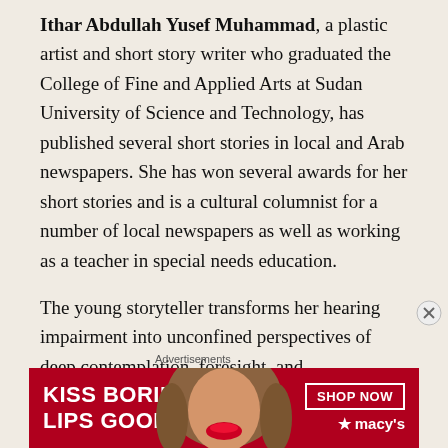Ithar Abdullah Yusef Muhammad, a plastic artist and short story writer who graduated the College of Fine and Applied Arts at Sudan University of Science and Technology, has published several short stories in local and Arab newspapers. She has won several awards for her short stories and is a cultural columnist for a number of local newspapers as well as working as a teacher in special needs education.

The young storyteller transforms her hearing impairment into unconfined perspectives of deep contemplation, foresight, and philosophical insight
[Figure (other): Advertisement banner for Macy's lipstick product: 'KISS BORING LIPS GOODBYE' with SHOP NOW button and Macy's logo with star]